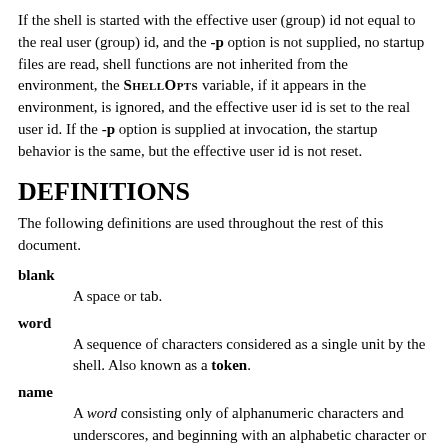If the shell is started with the effective user (group) id not equal to the real user (group) id, and the -p option is not supplied, no startup files are read, shell functions are not inherited from the environment, the SHELLOPTS variable, if it appears in the environment, is ignored, and the effective user id is set to the real user id. If the -p option is supplied at invocation, the startup behavior is the same, but the effective user id is not reset.
DEFINITIONS
The following definitions are used throughout the rest of this document.
blank — A space or tab.
word — A sequence of characters considered as a single unit by the shell. Also known as a token.
name — A word consisting only of alphanumeric characters and underscores, and beginning with an alphabetic character or an underscore. Also referred to as an identifier.
metacharacter — A character that, when unquoted, separates words. One of the following: